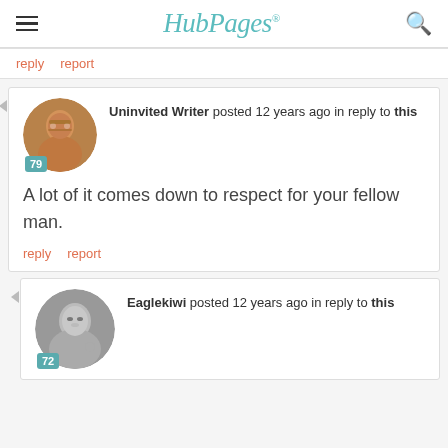HubPages
reply   report
Uninvited Writer posted 12 years ago in reply to this

A lot of it comes down to respect for your fellow man.

reply   report
Eaglekiwi posted 12 years ago in reply to this